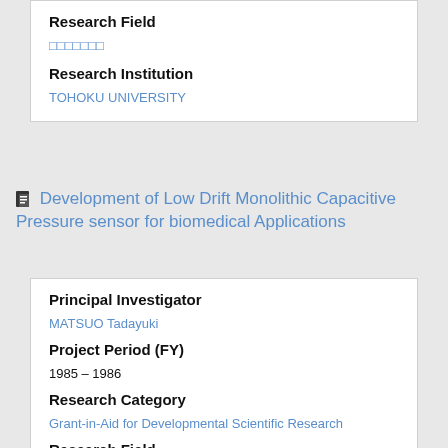Research Field
□□□□□□□
Research Institution
TOHOKU UNIVERSITY
Development of Low Drift Monolithic Capacitive Pressure sensor for biomedical Applications
Principal Investigator
MATSUO Tadayuki
Project Period (FY)
1985 – 1986
Research Category
Grant-in-Aid for Developmental Scientific Research
Research Field